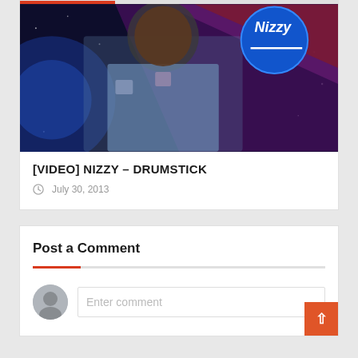[Figure (photo): Young man wearing a denim jacket in front of a space-themed background with the 'Nizzy' logo (blue circle with text) in the upper right corner.]
[VIDEO] NIZZY - DRUMSTICK
July 30, 2013
Post a Comment
Enter comment